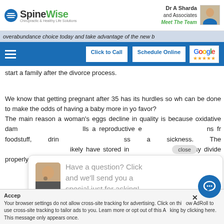SpineWise | Dr A Sharda and Associates | Meet The Team
Click to Call | Schedule Online | Google (5 stars)
overabundance choice today and take advantage of the new b
start a family after the divorce process.
We know that getting pregnant after 35 has its hurdles so wh can be done to make the odds of having a baby more in yo favor?
The main reason a woman’s eggs decline in quality is because oxidative dam                                                        lls a reproductive e                                                   ns fr foodstuff, drin                                                   ss a sickness. The                                                    ikely have stored in                                                   ay  divide properly or have the chromosome missing.
[Figure (screenshot): Chat popup with female avatar asking 'Have a question? Click and we'll send you a special just for asking!']
Your browser settings do not allow cross-site tracking for advertising. Click on thi ow AdRoll to use cross-site tracking to tailor ads to you. Learn more or opt out of this A king by clicking here. This message only appears once.